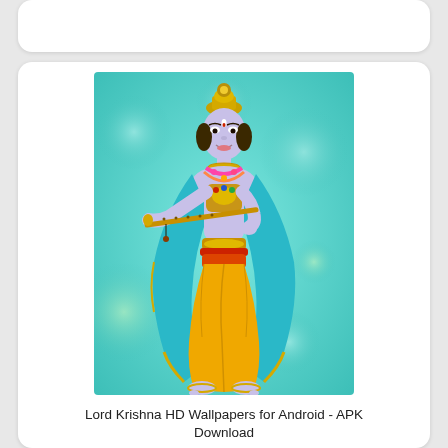[Figure (illustration): Illustration of Lord Krishna standing playing a flute, wearing golden crown, yellow dhoti, blue/teal shawl with gold trim, and flower garland, set against a teal/cyan bokeh background with green and blue circles]
Lord Krishna HD Wallpapers for Android - APK Download